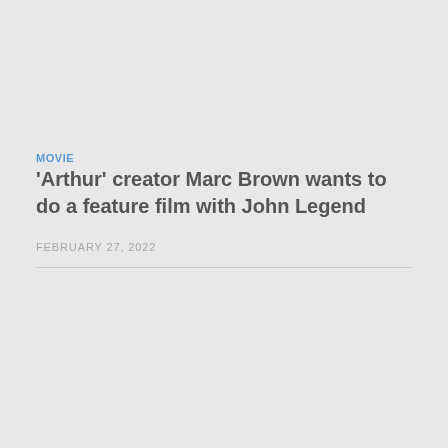MOVIE
'Arthur' creator Marc Brown wants to do a feature film with John Legend
FEBRUARY 27, 2022